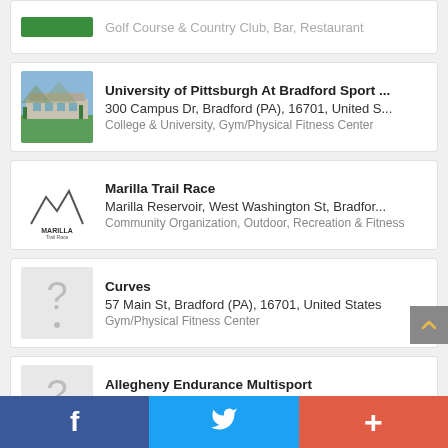Golf Course & Country Club, Bar, Restaurant
University of Pittsburgh At Bradford Sport ... | 300 Campus Dr, Bradford (PA), 16701, United S... | College & University, Gym/Physical Fitness Center
Marilla Trail Race | Marilla Reservoir, West Washington St, Bradfor... | Community Organization, Outdoor, Recreation & Fitness
Curves | 57 Main St, Bradford (PA), 16701, United States | Gym/Physical Fitness Center
Allegheny Endurance Multisport | 21 Kennedy St, Bradford (PA), 16701, United St... | Sports & Fitness Instructor, Personal Coach, Gym/Physi...
[Figure (other): Bottom navigation bar with Facebook, Twitter, and plus (+) share buttons]